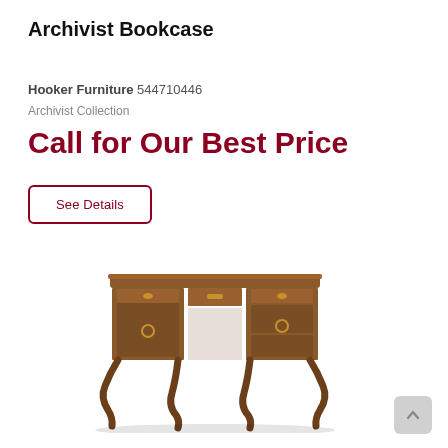Archivist Bookcase
Hooker Furniture 544710446
Archivist Collection
Call for Our Best Price
See Details
[Figure (photo): A traditional wooden writing desk with curved Queen Anne-style legs, multiple drawers, and an open cubby in the center, rendered in a warm brown finish.]